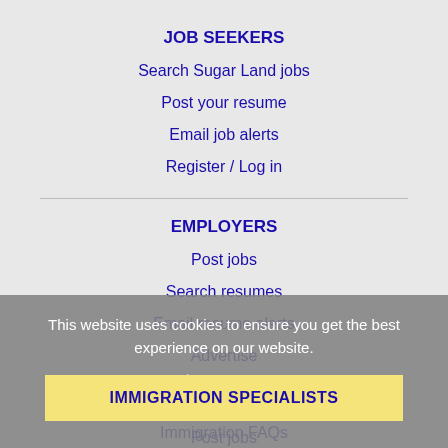JOB SEEKERS
Search Sugar Land jobs
Post your resume
Email job alerts
Register / Log in
EMPLOYERS
Post jobs
Search resumes
Email resume alerts
Advertise
This website uses cookies to ensure you get the best experience on our website.
Learn more
IMMIGRATION SPECIALISTS
Post jobs
Immigration FAQs